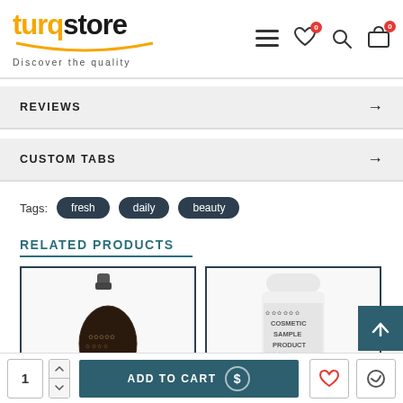[Figure (screenshot): Turqstore e-commerce website header with logo, hamburger menu, wishlist, search, and cart icons]
REVIEWS
CUSTOM TABS
Tags: fresh  daily  beauty
RELATED PRODUCTS
[Figure (photo): Dark brown glass bottle perfume product photo]
[Figure (photo): White tube cosmetic sample product photo]
ADD TO CART